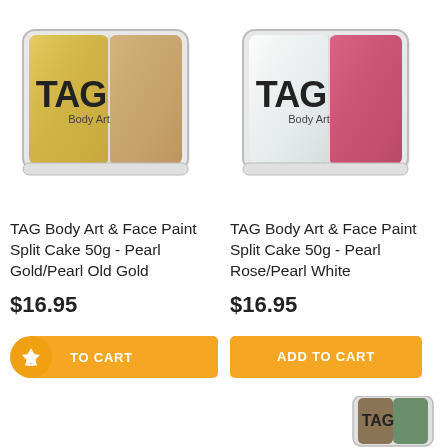[Figure (photo): TAG Body Art & Face Paint Split Cake 50g - Pearl Gold/Pearl Old Gold product image]
TAG Body Art & Face Paint Split Cake 50g - Pearl Gold/Pearl Old Gold
$16.95
[Figure (photo): TAG Body Art & Face Paint Split Cake 50g - Pearl Rose/Pearl White product image]
TAG Body Art & Face Paint Split Cake 50g - Pearl Rose/Pearl White
$16.95
TO CART
ADD TO CART
[Figure (photo): Partial view of another TAG Body Art product at bottom right corner]